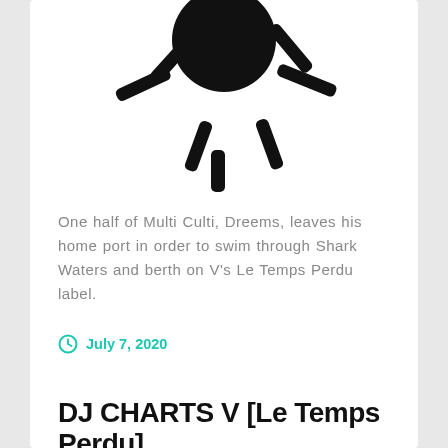[Figure (logo): Black bold logo mark resembling a sun/clock shape with radiating key-like arms and a stylized letter S in the center, on white background]
One half of Multi Culti, Dreems, leaves his home port in order to swim through Shark Waters and berth on V's Le Temps Perdu label.
July 7, 2020
DJ CHARTS V [Le Temps Perdu]